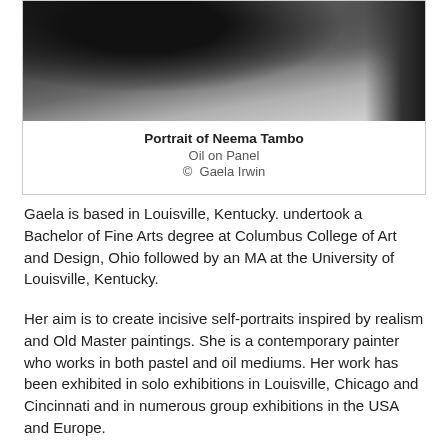[Figure (photo): Photograph of Neema Tambo, a person in dark clothing standing near a large painting on a wall]
Portrait of Neema Tambo
Oil on Panel
© Gaela Irwin
Gaela is based in Louisville, Kentucky. undertook a Bachelor of Fine Arts degree at Columbus College of Art and Design, Ohio followed by an MA at the University of Louisville, Kentucky.
Her aim is to create incisive self-portraits inspired by realism and Old Master paintings. She is a contemporary painter who works in both pastel and oil mediums. Her work has been exhibited in solo exhibitions in Louisville, Chicago and Cincinnati and in numerous group exhibitions in the USA and Europe.
Her portrait is of her friend Neema Tambo, a pharmacy student. Neema agreed to sit for two pastel portraits that were included in Erwin's 2016 solo exhibition.  It was then suggested that they could beontinuous and next to one another in the